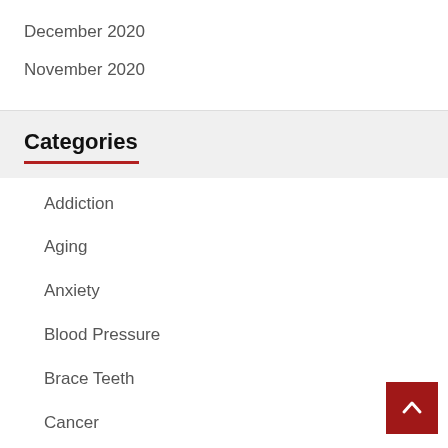December 2020
November 2020
Categories
Addiction
Aging
Anxiety
Blood Pressure
Brace Teeth
Cancer
Children Health Issue
Cholesterol
Cosmetic Dentistry